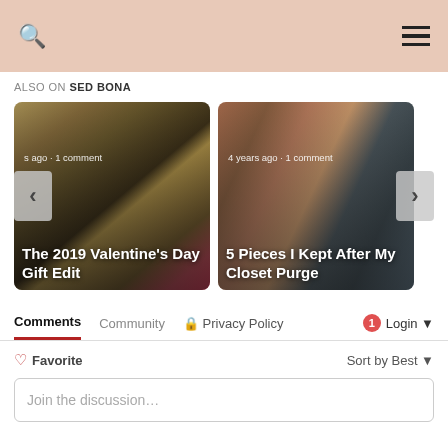Search | Menu — SED BONA blog header
ALSO ON SED BONA
[Figure (photo): Left card: Photo of ornate golden gate with woman in red dress, title 'The 2019 Valentine's Day Gift Edit', meta 's ago · 1 comment']
[Figure (photo): Right card: Photo of blonde woman in leopard print dress on city street, title '5 Pieces I Kept After My Closet Purge', meta '4 years ago · 1 comment']
Comments | Community | Privacy Policy | Login
Favorite | Sort by Best
Join the discussion…